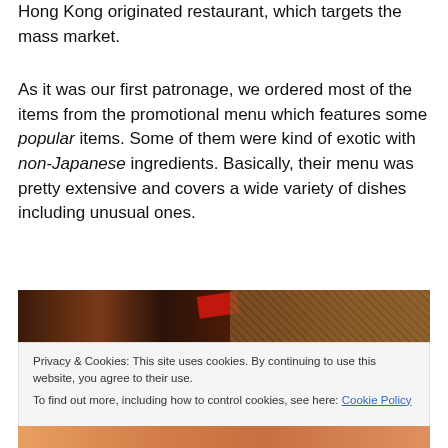Hong Kong originated restaurant, which targets the mass market.
As it was our first patronage, we ordered most of the items from the promotional menu which features some popular items. Some of them were kind of exotic with non-Japanese ingredients. Basically, their menu was pretty extensive and covers a wide variety of dishes including unusual ones.
[Figure (photo): Partial photo of restaurant interior showing dark surfaces with a red object and textured background]
Privacy & Cookies: This site uses cookies. By continuing to use this website, you agree to their use.
To find out more, including how to control cookies, see here: Cookie Policy
Close and accept
[Figure (photo): Partial photo showing warm orange-toned food image at the bottom edge]